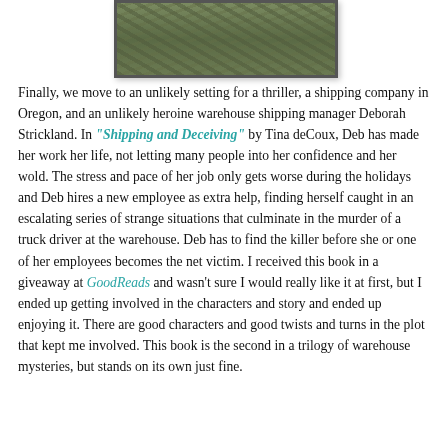[Figure (photo): Partial top portion of a photograph showing foliage/vegetation, cropped at top of page with a dark border]
Finally, we move to an unlikely setting for a thriller, a shipping company in Oregon, and an unlikely heroine warehouse shipping manager Deborah Strickland. In "Shipping and Deceiving" by Tina deCoux, Deb has made her work her life, not letting many people into her confidence and her wold. The stress and pace of her job only gets worse during the holidays and Deb hires a new employee as extra help, finding herself caught in an escalating series of strange situations that culminate in the murder of a truck driver at the warehouse. Deb has to find the killer before she or one of her employees becomes the net victim. I received this book in a giveaway at GoodReads and wasn't sure I would really like it at first, but I ended up getting involved in the characters and story and ended up enjoying it. There are good characters and good twists and turns in the plot that kept me involved. This book is the second in a trilogy of warehouse mysteries, but stands on its own just fine.